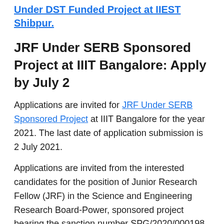Under DST Funded Project at IIEST Shibpur.
JRF Under SERB Sponsored Project at IIIT Bangalore: Apply by July 2
Applications are invited for JRF Under SERB Sponsored Project at IIIT Bangalore for the year 2021. The last date of application submission is 2 July 2021.
Applications are invited from the interested candidates for the position of Junior Research Fellow (JRF) in the Science and Engineering Research Board-Power, sponsored project bearing the sanction number SPG/2020/000198 at International Institute of